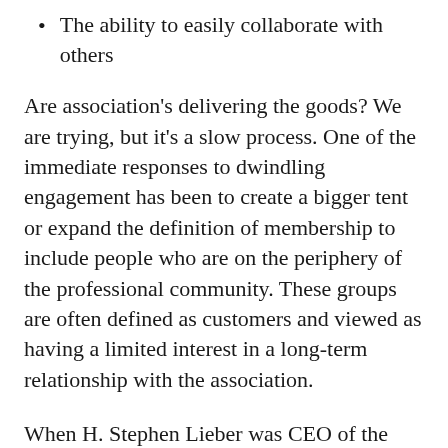The ability to easily collaborate with others
Are association’s delivering the goods? We are trying, but it’s a slow process. One of the immediate responses to dwindling engagement has been to create a bigger tent or expand the definition of membership to include people who are on the periphery of the professional community. These groups are often defined as customers and viewed as having a limited interest in a long-term relationship with the association.
When H. Stephen Lieber was CEO of the Health